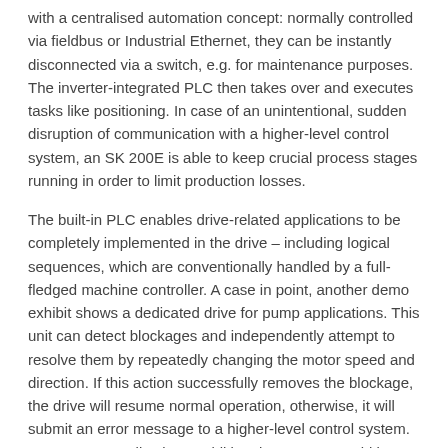with a centralised automation concept: normally controlled via fieldbus or Industrial Ethernet, they can be instantly disconnected via a switch, e.g. for maintenance purposes. The inverter-integrated PLC then takes over and executes tasks like positioning. In case of an unintentional, sudden disruption of communication with a higher-level control system, an SK 200E is able to keep crucial process stages running in order to limit production losses.
The built-in PLC enables drive-related applications to be completely implemented in the drive – including logical sequences, which are conventionally handled by a full-fledged machine controller. A case in point, another demo exhibit shows a dedicated drive for pump applications. This unit can detect blockages and independently attempt to resolve them by repeatedly changing the motor speed and direction. If this action successfully removes the blockage, the drive will resume normal operation, otherwise, it will submit an error message to a higher-level control system. In customer applications, additional measures could be initiated as well, e.g. by unlocking a bypass. Visitors are also invited to try a new approach and adjust the speed of an inverter-controlled geared motor with a mobile device via a wireless connection.
Adapted from press release by Katherine Guenioui